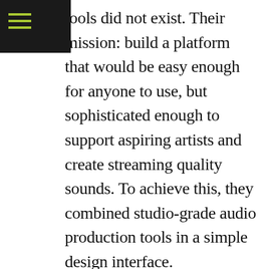≡ (navigation menu icon)
tools did not exist. Their mission: build a platform that would be easy enough for anyone to use, but sophisticated enough to support aspiring artists and create streaming quality sounds. To achieve this, they combined studio-grade audio production tools in a simple design interface.
“mayk.it is so close to my heart,” says Stefan Heinrich Henriquez, mayk.it’s CEO. “Making songs is a great equalizer inaccessible to most. We all have a voice